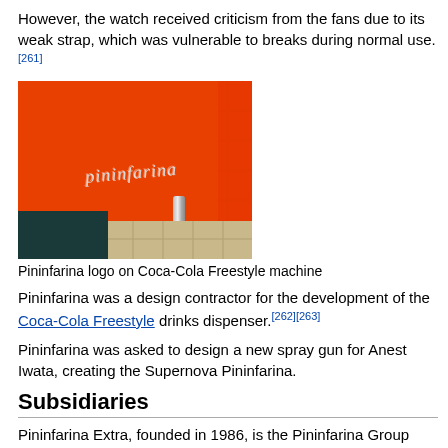However, the watch received criticism from the fans due to its weak strap, which was vulnerable to breaks during normal use.[261]
[Figure (photo): Close-up photo of an orange Coca-Cola Freestyle machine showing the Pininfarina logo in chrome cursive script]
Pininfarina logo on Coca-Cola Freestyle machine
Pininfarina was a design contractor for the development of the Coca-Cola Freestyle drinks dispenser.[262][263]
Pininfarina was asked to design a new spray gun for Anest Iwata, creating the Supernova Pininfarina.
Subsidiaries
Pininfarina Extra, founded in 1986, is the Pininfarina Group design company which does not work in the transport sector. Examples